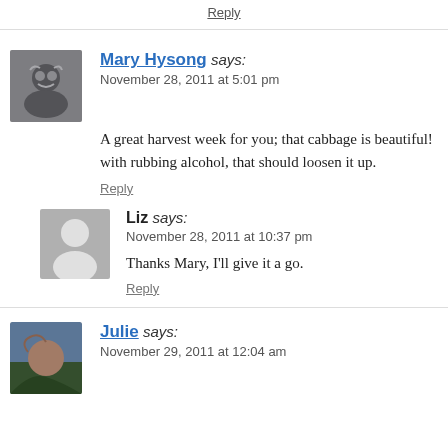Reply
Mary Hysong says:
November 28, 2011 at 5:01 pm
A great harvest week for you; that cabbage is beautiful! with rubbing alcohol, that should loosen it up.
Reply
Liz says:
November 28, 2011 at 10:37 pm
Thanks Mary, I'll give it a go.
Reply
Julie says:
November 29, 2011 at 12:04 am